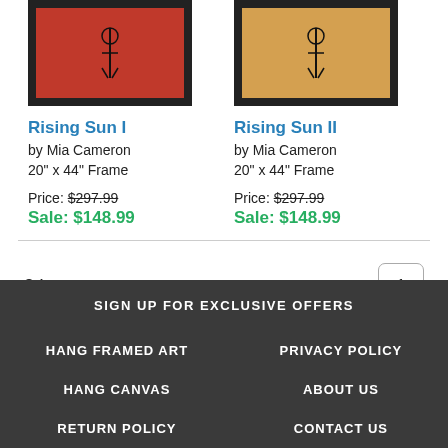[Figure (photo): Framed art print 'Rising Sun I' with red background, black frame]
Rising Sun I
by Mia Cameron
20" x 44" Frame
Price: $297.99
Sale: $148.99
[Figure (photo): Framed art print 'Rising Sun II' with tan/orange background, black frame]
Rising Sun II
by Mia Cameron
20" x 44" Frame
Price: $297.99
Sale: $148.99
2 Items
1
SIGN UP FOR EXCLUSIVE OFFERS
HANG FRAMED ART
HANG CANVAS
RETURN POLICY
PRIVACY POLICY
ABOUT US
CONTACT US